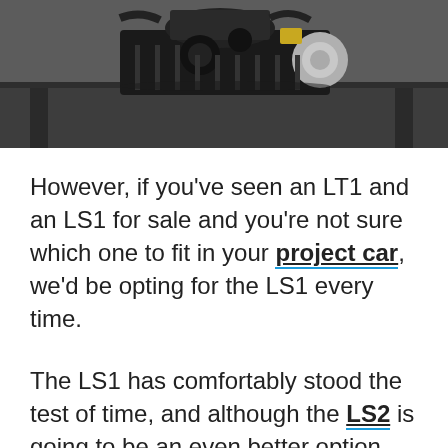[Figure (photo): Photo of a car engine (likely LS-series) sitting on a metal workbench or stand in a garage/workshop setting.]
However, if you've seen an LT1 and an LS1 for sale and you're not sure which one to fit in your project car, we'd be opting for the LS1 every time.
The LS1 has comfortably stood the test of time, and although the LS2 is going to be an even better option, it's likely to be an even bigger expense.
With its lightweight block, excellent cooling